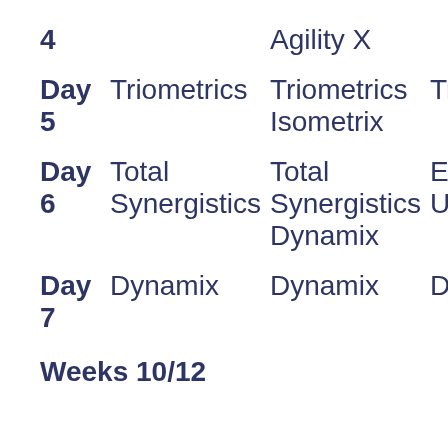|  | Col1 | Col2 | Col3 |
| --- | --- | --- | --- |
| 4 |  | Agility X |  |
| Day 5 | Triometrics | Triometrics | Triome… |
|  |  | Isometrix |  |
| Day 6 | Total Synergistics | Total Synergistics | Ecce… Upper… |
|  |  | Dynamix |  |
| Day 7 | Dynamix | Dynamix | Dynam… |
Weeks 10/12